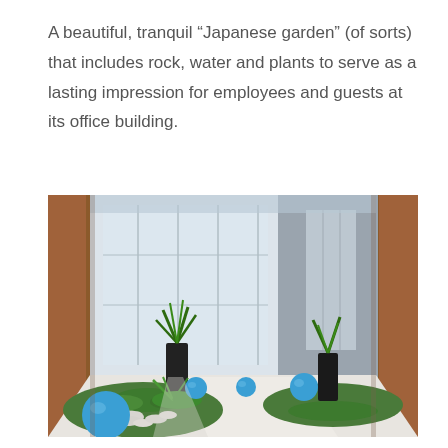A beautiful, tranquil “Japanese garden” (of sorts) that includes rock, water and plants to serve as a lasting impression for employees and guests at its office building.
[Figure (photo): Interior office building corridor with a Japanese garden featuring plants in dark pots, blue spherical balls, white stones, green moss, and a wide walkway with large windows and brown wooden columns.]